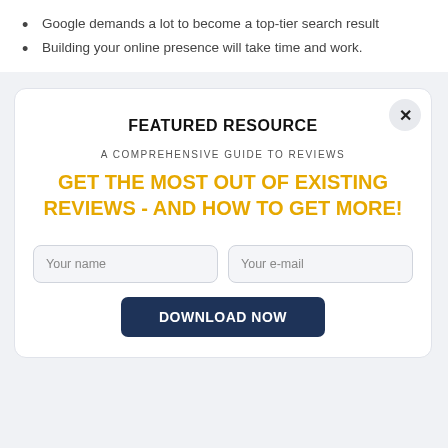Google demands a lot to become a top-tier search result
Building your online presence will take time and work.
FEATURED RESOURCE
A COMPREHENSIVE GUIDE TO REVIEWS
GET THE MOST OUT OF EXISTING REVIEWS - AND HOW TO GET MORE!
Your name
Your e-mail
DOWNLOAD NOW